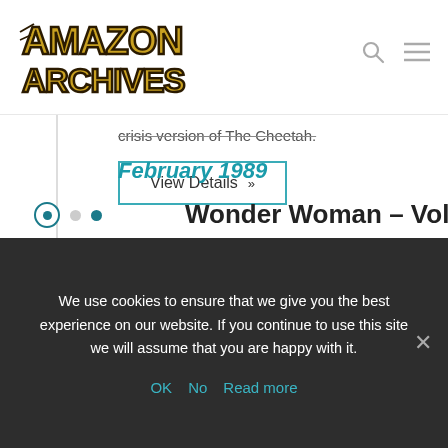[Figure (logo): Amazon Archives logo with gold stylized text on white background]
crisis version of The Cheetah.
View Details »
February 1989
Wonder Woman – Volume 2
We use cookies to ensure that we give you the best experience on our website. If you continue to use this site we will assume that you are happy with it.
OK   No   Read more